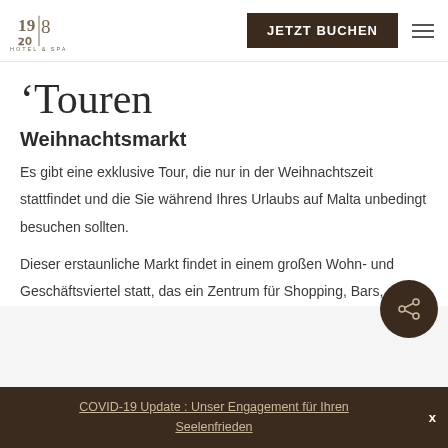19/8 HOTEL & SPA — JETZT BUCHEN
Touren
Weihnachtsmarkt
Es gibt eine exklusive Tour, die nur in der Weihnachtszeit stattfindet und die Sie während Ihres Urlaubs auf Malta unbedingt besuchen sollten.
Dieser erstaunliche Markt findet in einem großen Wohn- und Geschäftsviertel statt, das ein Zentrum für Shopping, Bars,
COVID-19 Update : Unser Engagement für Ihren Seelenfrieden